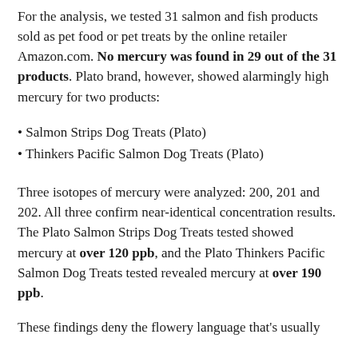For the analysis, we tested 31 salmon and fish products sold as pet food or pet treats by the online retailer Amazon.com. No mercury was found in 29 out of the 31 products. Plato brand, however, showed alarmingly high mercury for two products:
• Salmon Strips Dog Treats (Plato)
• Thinkers Pacific Salmon Dog Treats (Plato)
Three isotopes of mercury were analyzed: 200, 201 and 202. All three confirm near-identical concentration results. The Plato Salmon Strips Dog Treats tested showed mercury at over 120 ppb, and the Plato Thinkers Pacific Salmon Dog Treats tested revealed mercury at over 190 ppb.
These findings deny the flowery language that's usually